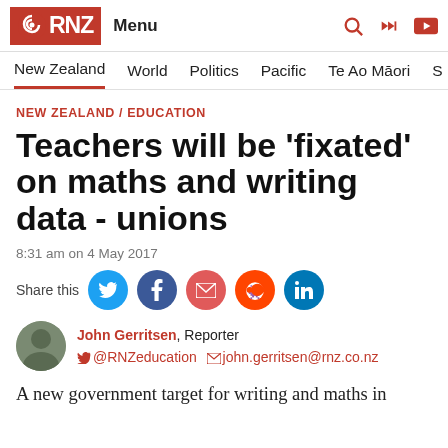RNZ | Menu
New Zealand | World | Politics | Pacific | Te Ao Māori | S
NEW ZEALAND / EDUCATION
Teachers will be 'fixated' on maths and writing data - unions
8:31 am on 4 May 2017
Share this
John Gerritsen, Reporter @RNZeducation john.gerritsen@rnz.co.nz
A new government target for writing and maths in